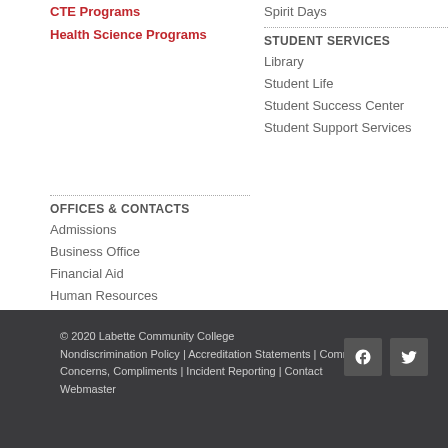CTE Programs
Health Science Programs
Spirit Days
STUDENT SERVICES
Library
Student Life
Student Success Center
Student Support Services
OFFICES & CONTACTS
Admissions
Business Office
Financial Aid
Human Resources
President's Office
Public Relations
© 2020 Labette Community College Nondiscrimination Policy | Accreditation Statements | Comments, Concerns, Compliments | Incident Reporting | Contact Webmaster